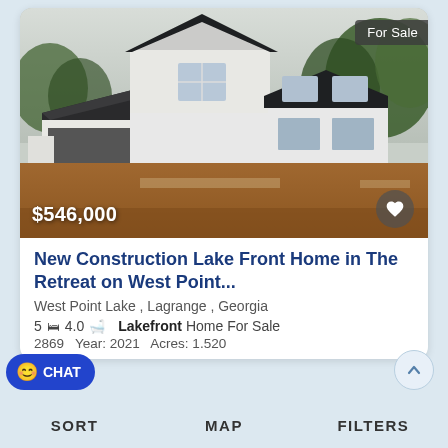[Figure (photo): Photo of a new construction lakefront home under construction, white siding, dark roof, open garage, red dirt driveway, trees in background. Price overlay '$546,000' at bottom left. 'For Sale' badge at top right. Heart/favorite button at bottom right.]
New Construction Lake Front Home in The Retreat on West Point...
West Point Lake , Lagrange , Georgia
5 bd  4.0 ba  Lakefront  Home For Sale
2869  Year: 2021  Acres: 1.520
SORT  MAP  FILTERS